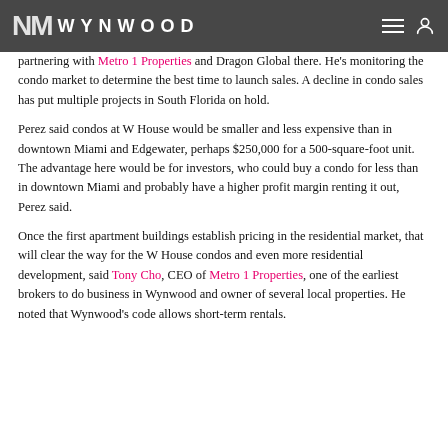NM WYNWOOD
partnering with Metro 1 Properties and Dragon Global there. He's monitoring the condo market to determine the best time to launch sales. A decline in condo sales has put multiple projects in South Florida on hold.
Perez said condos at W House would be smaller and less expensive than in downtown Miami and Edgewater, perhaps $250,000 for a 500-square-foot unit. The advantage here would be for investors, who could buy a condo for less than in downtown Miami and probably have a higher profit margin renting it out, Perez said.
Once the first apartment buildings establish pricing in the residential market, that will clear the way for the W House condos and even more residential development, said Tony Cho, CEO of Metro 1 Properties, one of the earliest brokers to do business in Wynwood and owner of several local properties. He noted that Wynwood's code allows short-term rentals.